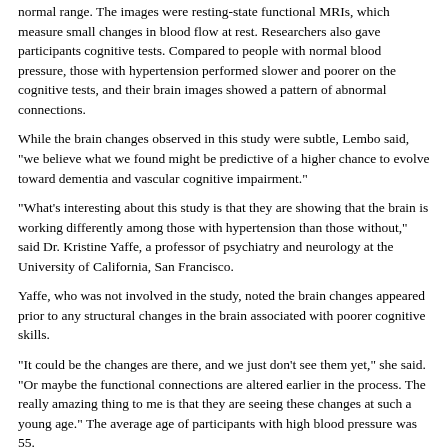normal range. The images were resting-state functional MRIs, which measure small changes in blood flow at rest. Researchers also gave participants cognitive tests. Compared to people with normal blood pressure, those with hypertension performed slower and poorer on the cognitive tests, and their brain images showed a pattern of abnormal connections.
While the brain changes observed in this study were subtle, Lembo said, "we believe what we found might be predictive of a higher chance to evolve toward dementia and vascular cognitive impairment."
"What's interesting about this study is that they are showing that the brain is working differently among those with hypertension than those without," said Dr. Kristine Yaffe, a professor of psychiatry and neurology at the University of California, San Francisco.
Yaffe, who was not involved in the study, noted the brain changes appeared prior to any structural changes in the brain associated with poorer cognitive skills.
"It could be the changes are there, and we just don't see them yet," she said. "Or maybe the functional connections are altered earlier in the process. The really amazing thing to me is that they are seeing these changes at such a young age." The average age of participants with high blood pressure was 55.
Yaffe, who co-chaired the committee that wrote a 2016 AHA scientific statement about the impact of high blood pressure on cognitive function, said a larger study over a longer period of time is needed to flesh out these findings.
"We need to see if cognitive function gets worse, who is most likely to experience